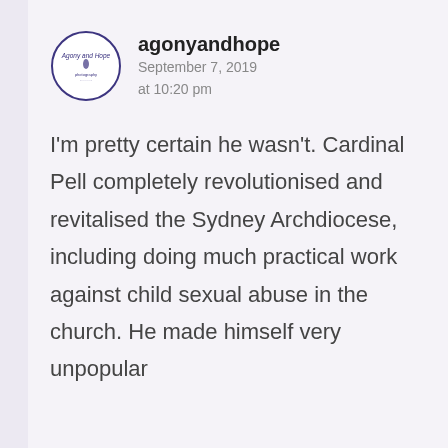[Figure (logo): Circular logo for 'Agony and Hope' with small text around a central droplet icon, outlined in dark blue/purple]
agonyandhope
September 7, 2019
at 10:20 pm
I'm pretty certain he wasn't. Cardinal Pell completely revolutionised and revitalised the Sydney Archdiocese, including doing much practical work against child sexual abuse in the church. He made himself very unpopular